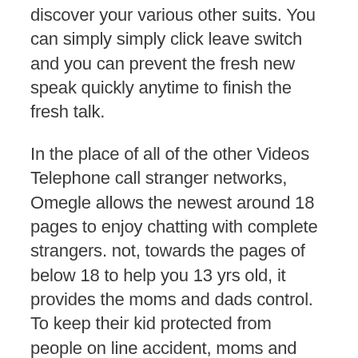discover your various other suits. You can simply simply click leave switch and you can prevent the fresh new speak quickly anytime to finish the fresh talk.
In the place of all of the other Videos Telephone call stranger networks, Omegle allows the newest around 18 pages to enjoy chatting with complete strangers. not, towards the pages of below 18 to help you 13 yrs old, it provides the moms and dads control. To keep their kid protected from people on line accident, moms and dads can track the activities of its boy and find out exactly what version of someone he's experiencing.
HIGH OPTIONS THAT COME WITH OMEGLE